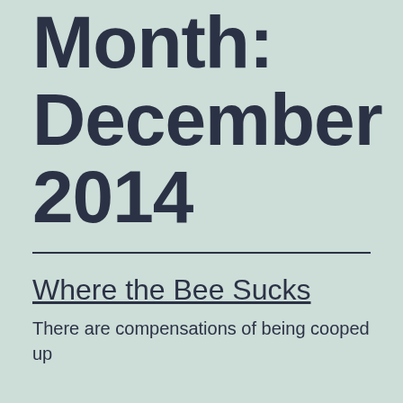Month: December 2014
Where the Bee Sucks
There are compensations of being cooped up